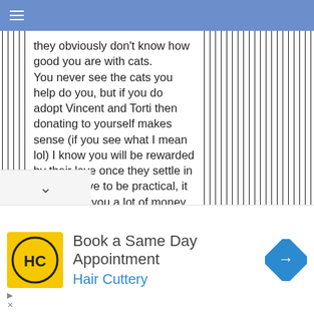☰ (navigation menu icon)
they obviously don't know how good you are with cats.
You never see the cats you help do you, but if you do adopt Vincent and Torti then donating to yourself makes sense (if you see what I mean lol) I know you will be rewarded by their love once they settle in but you have to be practical, it would cost you a lot of money if it happens. More mouths to feed too and vet bills etc, so just accept all the financial help you are offered or I will just have to come over there and give you some 'nip therapy' until you do lol
[Figure (screenshot): Advertisement banner for Hair Cuttery showing logo, 'Book a Same Day Appointment' text, and a navigation/map icon]